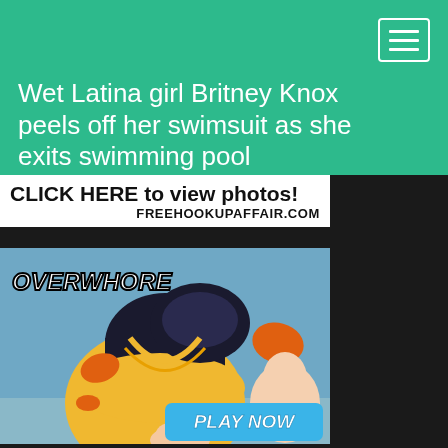Wet Latina girl Britney Knox peels off her swimsuit as she exits swimming pool
CLICK HERE to view photos!
FREEHOOKUPAFFAIR.COM
[Figure (illustration): Animated game advertisement showing stylized character with text 'OVERWHORE' and a 'PLAY NOW' button]